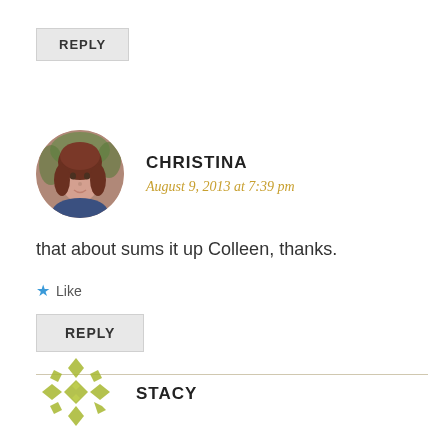REPLY
[Figure (photo): Circular avatar photo of Christina, a woman with brown hair, outdoors]
CHRISTINA
August 9, 2013 at 7:39 pm
that about sums it up Colleen, thanks.
★ Like
REPLY
[Figure (illustration): Decorative green geometric/snowflake pattern avatar for Stacy]
STACY